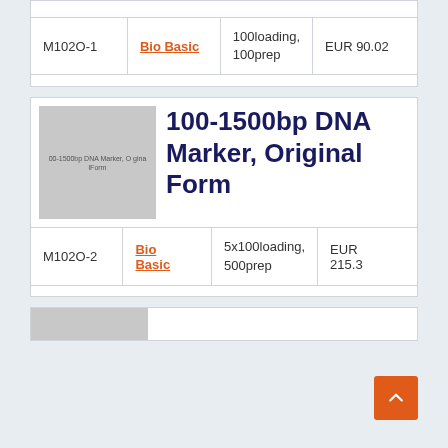| SKU | Brand | Description | Price |
| --- | --- | --- | --- |
| M102O-1 | Bio Basic | 100loading, 100prep | EUR 90.02 |
[Figure (photo): Product image placeholder for 100-1500bp DNA Marker, Original Form]
100-1500bp DNA Marker, Original Form
| SKU | Brand | Description | Price |
| --- | --- | --- | --- |
| M102O-2 | Bio Basic | 5x100loading, 500prep | EUR 215.3 |